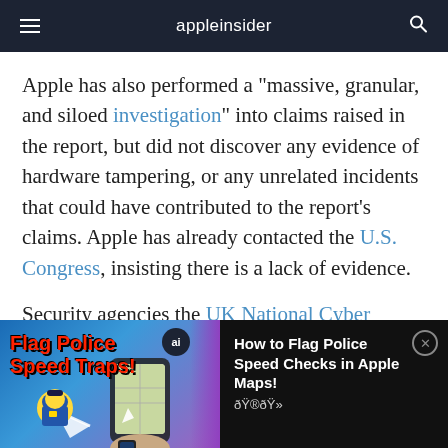appleinsider
Apple has also performed a "massive, granular, and siloed investigation" into claims raised in the report, but did not discover any evidence of hardware tampering, or any unrelated incidents that could have contributed to the report's claims. Apple has already contacted the U.S. Congress, insisting there is a lack of evidence.
Security agencies the UK National Cyber
[Figure (screenshot): Advertisement banner at bottom of page showing 'Flag Police Speed Traps!' with phone image on left, and 'How to Flag Police Speed Checks in Apple Maps! 🏎️👮' text on right with close button]